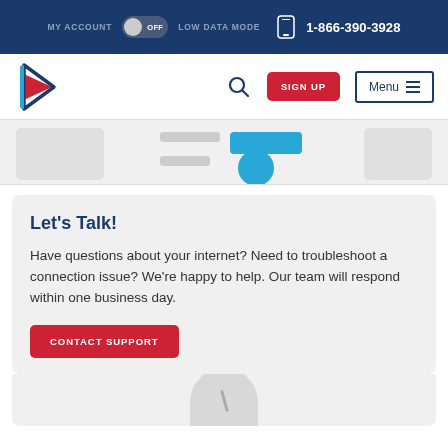MY ACCOUNT  OFF  LOW DATA MODE  1-866-390-3928
[Figure (screenshot): Website navigation bar with logo, search icon, SIGN UP button, and Menu button]
[Figure (screenshot): Partial view of a content section with gray placeholder bars and blue button/circle elements]
Let's Talk!
Have questions about your internet? Need to troubleshoot a connection issue? We're happy to help. Our team will respond within one business day.
[Figure (screenshot): CONTACT SUPPORT red button]
[Figure (photo): Partial view of a white rounded device at the bottom of the page]